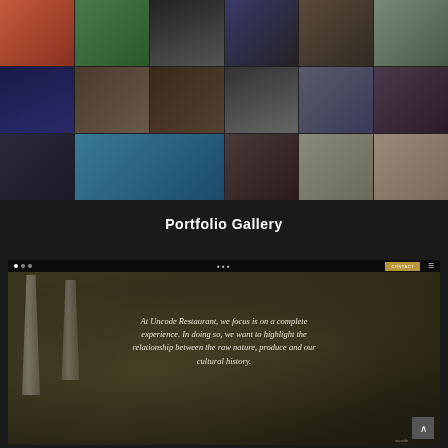[Figure (photo): Portfolio gallery mosaic grid of portrait photographs — diverse people including women with red hair, people in nature, Black man praying, hooded figure, man with beard, woman with hands on face, monochrome portraits, woman in blue headwrap, child, etc. Multiple rows and columns of portrait photos on dark background.]
Portfolio Gallery
[Figure (screenshot): Screenshot of a restaurant website (Uncode Restaurant) showing a dark atmospheric dining scene with champagne glasses in foreground, blurred bokeh background. Navigation bar at top with dots, logo center, gold button and icon right. Overlaid italic serif text reads: 'At Uncode Restaurant, we focus is on a complete experience. In doing so, we want to highlight the relationship between the raw nature, produce and our cultural history.' Scroll-to-top button bottom right.]